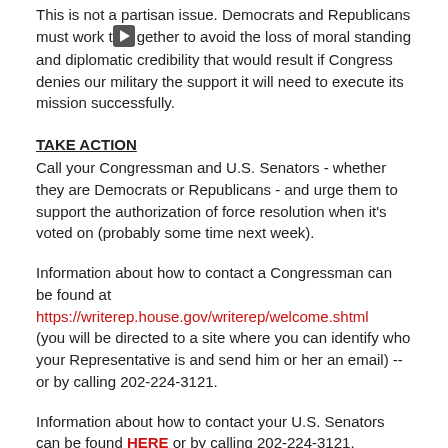This is not a partisan issue. Democrats and Republicans must work together to avoid the loss of moral standing and diplomatic credibility that would result if Congress denies our military the support it will need to execute its mission successfully.
TAKE ACTION
Call your Congressman and U.S. Senators - whether they are Democrats or Republicans - and urge them to support the authorization of force resolution when it's voted on (probably some time next week).
Information about how to contact a Congressman can be found at https://writerep.house.gov/writerep/welcome.shtml (you will be directed to a site where you can identify who your Representative is and send him or her an email) -- or by calling 202-224-3121.
Information about how to contact your U.S. Senators can be found HERE or by calling 202-224-3121.
Members of Congress are more responsive to their own constituents, so we encourage you to alert friends and family members in other states and ask them to contact their Senators